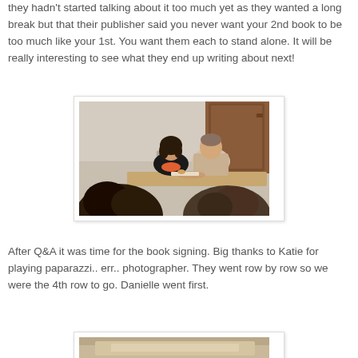they hadn't started talking about it too much yet as they wanted a long break but that their publisher said you never want your 2nd book to be too much like your 1st. You want them each to stand alone. It will be really interesting to see what they end up writing about next!
[Figure (photo): Two authors sitting at a table signing books, viewed from behind audience members with curly dark hair in the foreground. The authors are a woman in a black jacket and a man in a plaid shirt.]
After Q&A it was time for the book signing. Big thanks to Katie for playing paparazzi.. err.. photographer. They went row by row so we were the 4th row to go. Danielle went first.
[Figure (photo): Partial photo at bottom of page, cropped.]